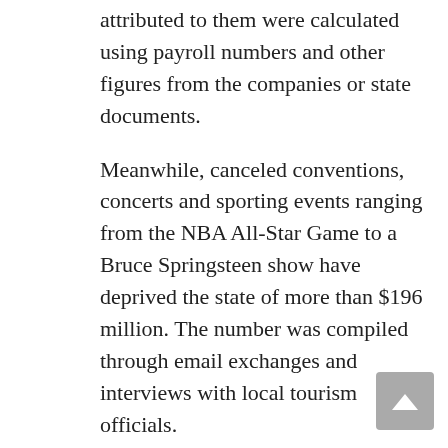attributed to them were calculated using payroll numbers and other figures from the companies or state documents.
Meanwhile, canceled conventions, concerts and sporting events ranging from the NBA All-Star Game to a Bruce Springsteen show have deprived the state of more than $196 million. The number was compiled through email exchanges and interviews with local tourism officials.
All told, the state will have missed out on more than $3.76 billion by the end of 2028. The losses are based on projects that already went elsewhere — so the money won't be recouped even if the law is struck down in court or repealed.
By the end of 2017 alone, the lost business will total more than $525 million.
Tourism officials in several cities say the numbers they report represent only a fraction of the damage the law has done. They typically track large conventions but don't have firm numbers for when groups or tourists cancel smaller deals or rule out North Carolina before booking.
“The biggest impact is how many times our phones are not